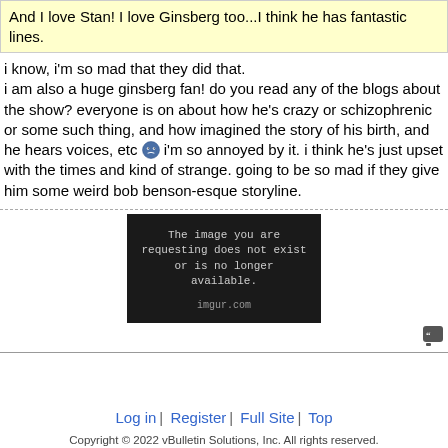And I love Stan! I love Ginsberg too...I think he has fantastic lines.
i know, i'm so mad that they did that.
i am also a huge ginsberg fan! do you read any of the blogs about the show? everyone is on about how he's crazy or schizophrenic or some such thing, and how imagined the story of his birth, and he hears voices, etc 😟 i'm so annoyed by it. i think he's just upset with the times and kind of strange. going to be so mad if they give him some weird bob benson-esque storyline.
[Figure (screenshot): Black image placeholder box with text: 'The image you are requesting does not exist or is no longer available.' with imgur.com credit at bottom.]
Log in | Register | Full Site | Top
Copyright © 2022 vBulletin Solutions, Inc. All rights reserved.
LinkBacks Enabled by vBSEO © 2011, Crawlability, Inc.